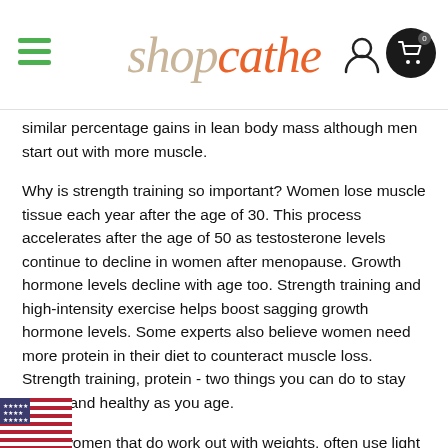shopcathe
similar percentage gains in lean body mass although men start out with more muscle.
Why is strength training so important? Women lose muscle tissue each year after the age of 30. This process accelerates after the age of 50 as testosterone levels continue to decline in women after menopause. Growth hormone levels decline with age too. Strength training and high-intensity exercise helps boost sagging growth hormone levels. Some experts also believe women need more protein in their diet to counteract muscle loss. Strength training, protein - two things you can do to stay strong and healthy as you age.
Even women that do work out with weights, often use light ones and don't increase the weight over time, so they fail to get the full benefits that strength training offers. Strength training is vital for preserving lean body mass and bone mass. Weight lifting also improves insulin sensitivity. This is important for metabolic health and weight control.